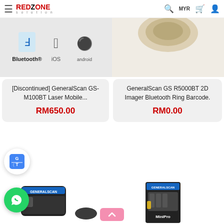[Figure (screenshot): RedZone Solution e-commerce website screenshot showing navigation bar with logo, search, MYR currency, cart and user icons, product listings for GeneralScan barcode scanners, Google Translate and WhatsApp floating buttons, and bottom product images.]
[Discontinued] GeneralScan GS-M100BT Laser Mobile...
RM650.00
GeneralScan GS R5000BT 2D Imager Bluetooth Ring Barcode.
RM0.00